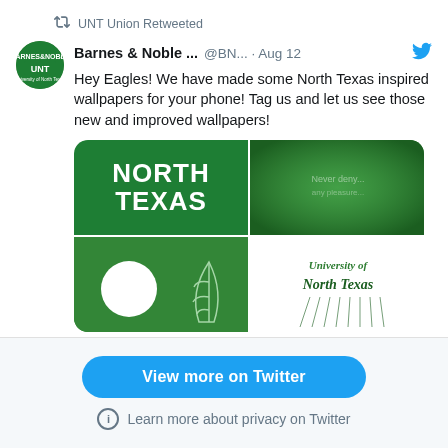UNT Union Retweeted
Barnes & Noble ...  @BN...  · Aug 12
Hey Eagles! We have made some North Texas inspired wallpapers for your phone! Tag us and let us see those new and improved wallpapers!
[Figure (photo): Four-panel collage of North Texas themed phone wallpapers: top-left green background with bold white NORTH TEXAS text, top-right blurred green gradient, bottom-left green background with white circle and leaf outline, bottom-right white background with handwritten University of North Texas text and decorative lines]
1   16
View more on Twitter
Learn more about privacy on Twitter